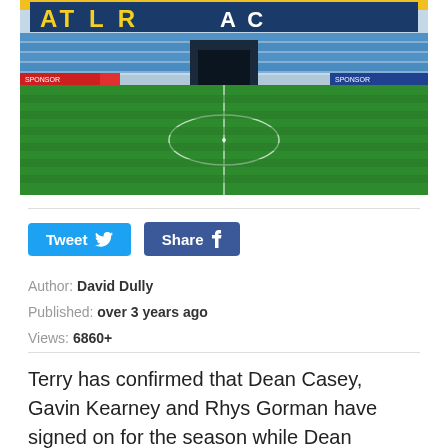[Figure (photo): Football stadium pitch view from ground level showing green grass, white centre circle markings, yellow and blue plastic seating stands in the background with partial stadium name lettering visible]
Author: David Dully
Published: over 3 years ago
Views: 6860+
Terry has confirmed that Dean Casey, Gavin Kearney and Rhys Gorman have signed on for the season while Dean Williams has signed on loan from Shamrock Rovers. All four players have featured in the pre season friendlies.